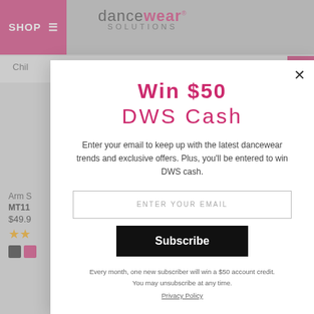[Figure (screenshot): Website background showing Dancewear Solutions header with pink SHOP menu button, logo, search bar, product listing with 'Arm S', 'MT11', '$49.9', star ratings, color swatches, and a pink scroll button]
Win $50
DWS Cash
Enter your email to keep up with the latest dancewear trends and exclusive offers. Plus, you'll be entered to win DWS cash.
ENTER YOUR EMAIL
Subscribe
Every month, one new subscriber will win a $50 account credit.
You may unsubscribe at any time.
Privacy Policy